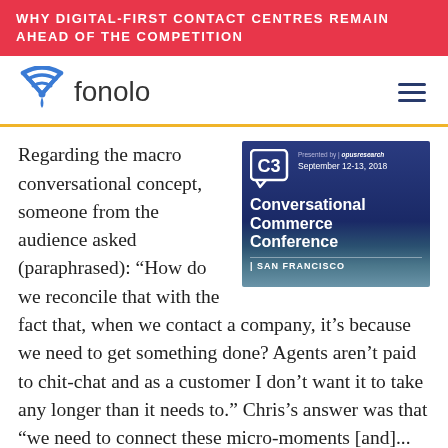WHY DIGITAL-FIRST CONTACT CENTRES REMAIN AHEAD OF THE COMPETITION
[Figure (logo): Fonolo logo with wifi/location icon and text 'fonolo']
[Figure (other): C3 Conversational Commerce Conference advertisement. Presented by opusresearch. September 12-13, 2018. San Francisco.]
Regarding the macro conversational concept, someone from the audience asked (paraphrased): “How do we reconcile that with the fact that, when we contact a company, it’s because we need to get something done? Agents aren’t paid to chit-chat and as a customer I don’t want it to take any longer than it needs to.” Chris’s answer was that “we need to connect these micro-moments [and]... get to